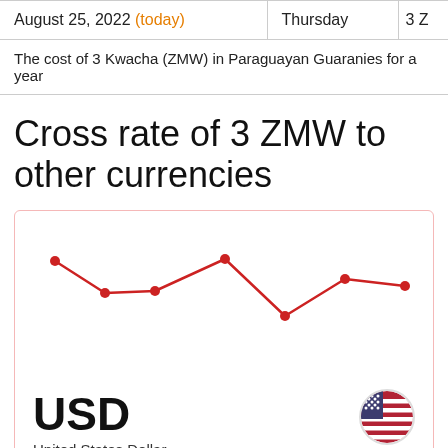| Date | Day | Value |
| --- | --- | --- |
| August 25, 2022 (today) | Thursday | 3 Z |
The cost of 3 Kwacha (ZMW) in Paraguayan Guaranies for a year
Cross rate of 3 ZMW to other currencies
[Figure (line-chart): Line chart showing exchange rate of 3 ZMW to USD over a week, with a red line connecting 7 data points. The line starts high, dips, recovers, dips to a low, then rises and levels off.]
USD
United States Dollar
USA
0.19 USD
Exchange rate change for the week
-$0.000034  -0.02%